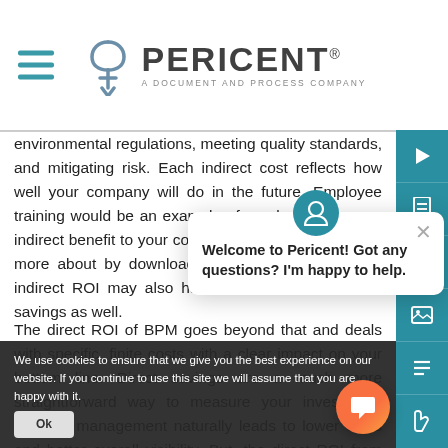PERICENT — A Document and Process Company
environmental regulations, meeting quality standards, and mitigating risk. Each indirect cost reflects how well your company will do in the future. Employee training would be an example of a value that has an indirect benefit to your company, which you can learn more about by downloading this guide. Of course, indirect ROI may also have benefits for short-term savings as well.
The direct ROI of BPM goes beyond that and deals with specific, finite costs with a clear impact on your bottom line. Direct savings are a much more straightforward way to measure your investment. Process management naturally leads to lower costs and better overall visibility. But, the direct ROI from effective process management continues to benefit
Welcome to Pericent! Got any questions? I'm happy to help.
We use cookies to ensure that we give you the best experience on our website. If you continue to use this site we will assume that you are happy with it.